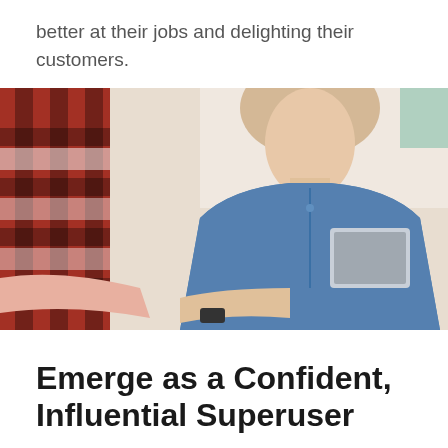better at their jobs and delighting their customers.
[Figure (photo): A woman in a blue denim shirt holding a tablet/iPad, interacting with another person wearing a red plaid shirt. The scene appears to be in a bright office or retail environment.]
Emerge as a Confident, Influential Superuser